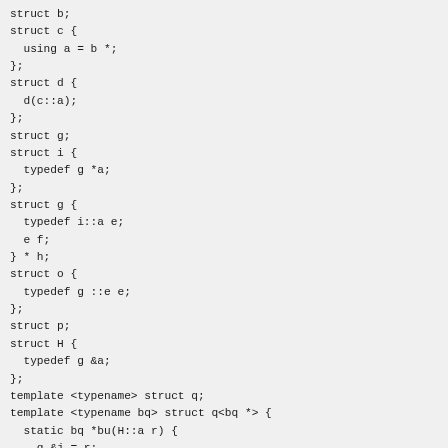struct b;
struct c {
  using a = b *;
};
struct d {
  d(c::a);
};
struct g;
struct i {
  typedef g *a;
};
struct g {
  typedef i::a e;
  e f;
} * h;
struct o {
  typedef g ::e e;
};
struct p;
struct H {
  typedef g &a;
};
template <typename> struct q;
template <typename bq> struct q<bq *> {
  static bq *bu(H::a r) {
    g &j = r;
    h = &j;
    return h;
  }
};
...